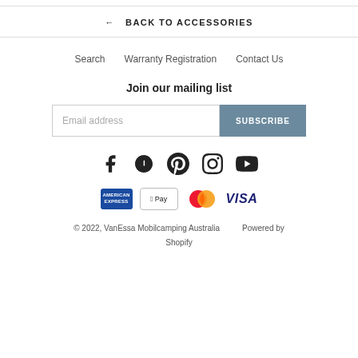← BACK TO ACCESSORIES
Search   Warranty Registration   Contact Us
Join our mailing list
Email address  SUBSCRIBE
[Figure (infographic): Social media icons: Facebook, Pinterest, Instagram, YouTube]
[Figure (infographic): Payment icons: American Express, Apple Pay, Mastercard, Visa]
© 2022, VanEssa Mobilcamping Australia   Powered by Shopify